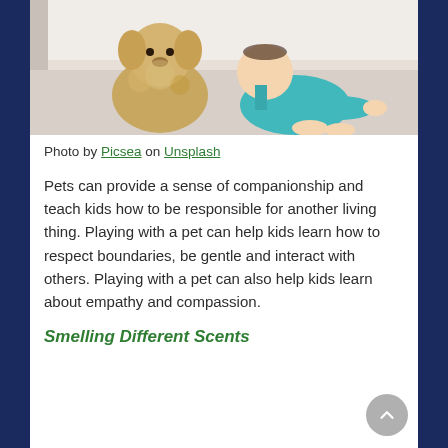[Figure (photo): A fluffy golden/cream colored dog sitting next to a baby in a teal outfit crawling on a light carpet floor indoors]
Photo by Picsea on Unsplash
Pets can provide a sense of companionship and teach kids how to be responsible for another living thing. Playing with a pet can help kids learn how to respect boundaries, be gentle and interact with others. Playing with a pet can also help kids learn about empathy and compassion.
Smelling Different Scents